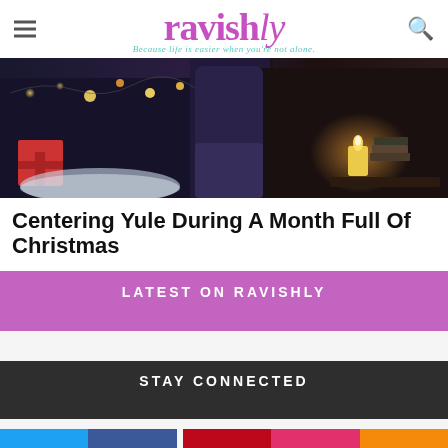ravishly — Because life is easier when you're not alone.
[Figure (photo): Dark cozy room with Christmas lights, candle, and books on a side table]
Centering Yule During A Month Full Of Christmas
LATEST ON RAVISHLY
STAY CONNECTED